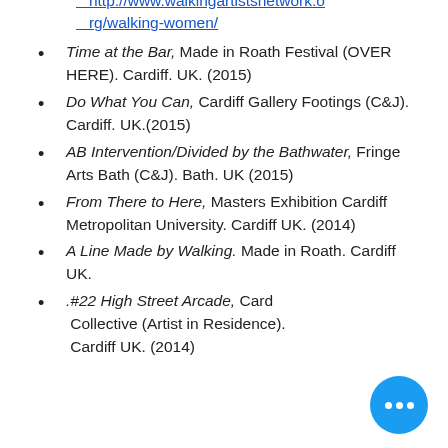http://www.walkingartistsnetwork.org/walking-women/
Time at the Bar, Made in Roath Festival (OVER HERE). Cardiff. UK. (2015)
Do What You Can, Cardiff Gallery Footings (C&J). Cardiff. UK.(2015)
AB Intervention/Divided by the Bathwater, Fringe Arts Bath (C&J). Bath. UK (2015)
From There to Here, Masters Exhibition Cardiff Metropolitan University. Cardiff UK. (2014)
A Line Made by Walking. Made in Roath. Cardiff UK.
.#22 High Street Arcade, Cardiff Collective (Artist in Residence). Cardiff UK. (2014)